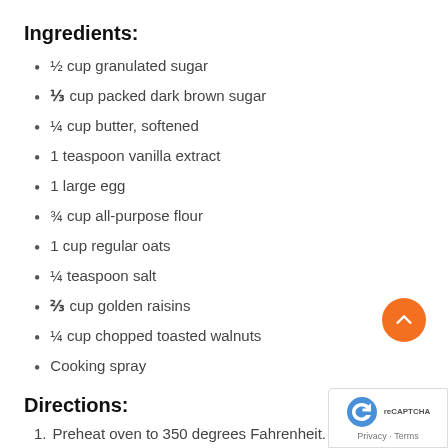Ingredients:
½ cup granulated sugar
⅓ cup packed dark brown sugar
¼ cup butter, softened
1 teaspoon vanilla extract
1 large egg
¾ cup all-purpose flour
1 cup regular oats
¼ teaspoon salt
⅔ cup golden raisins
¼ cup chopped toasted walnuts
Cooking spray
Directions:
1. Preheat oven to 350 degrees Fahrenheit.
2. Place first 5 ingredients in a large bowl. Beat w…